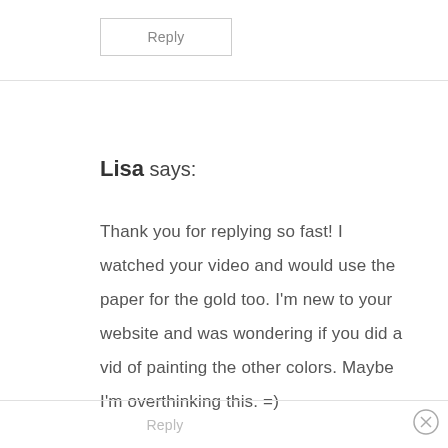Reply
Lisa says:
Thank you for replying so fast! I watched your video and would use the paper for the gold too. I'm new to your website and was wondering if you did a vid of painting the other colors. Maybe I'm overthinking this. =)
Reply